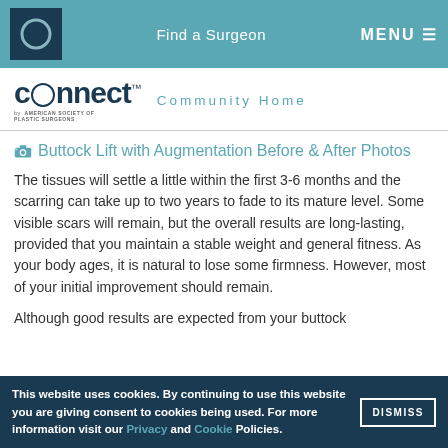Find a Surgeon   MENU
[Figure (logo): Connect by American Society of Plastic Surgeons logo with Community Home link]
Buttock Lift with Augmentation Before & After Photos
The tissues will settle a little within the first 3-6 months and the scarring can take up to two years to fade to its mature level. Some visible scars will remain, but the overall results are long-lasting, provided that you maintain a stable weight and general fitness. As your body ages, it is natural to lose some firmness. However, most of your initial improvement should remain.
Although good results are expected from your buttock
This website uses cookies. By continuing to use this website you are giving consent to cookies being used. For more information visit our Privacy and Cookie Policies.   DISMISS